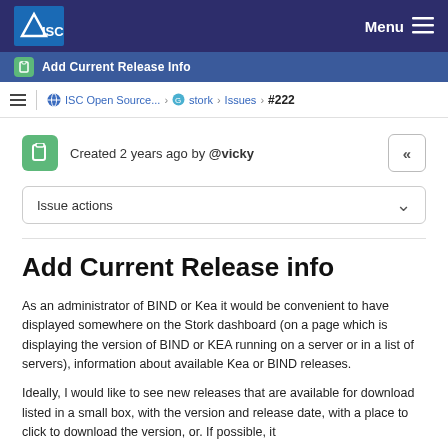ISC — Menu
Add Current Release Info
ISC Open Source... › stork › Issues › #222
Created 2 years ago by @vicky
Issue actions
Add Current Release info
As an administrator of BIND or Kea it would be convenient to have displayed somewhere on the Stork dashboard (on a page which is displaying the version of BIND or KEA running on a server or in a list of servers), information about available Kea or BIND releases.
Ideally, I would like to see new releases that are available for download listed in a small box, with the version and release date, with a place to click to download the version, or. If possible, it